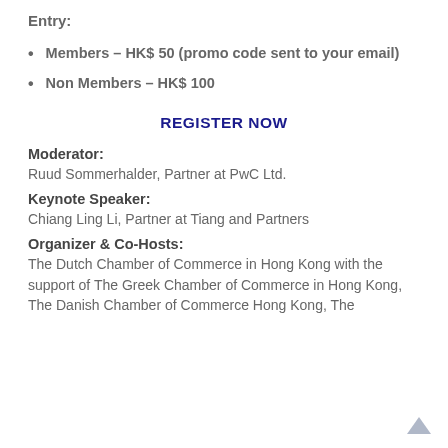Entry:
Members – HK$ 50 (promo code sent to your email)
Non Members – HK$ 100
REGISTER NOW
Moderator:
Ruud Sommerhalder, Partner at PwC Ltd.
Keynote Speaker:
Chiang Ling Li, Partner at Tiang and Partners
Organizer & Co-Hosts:
The Dutch Chamber of Commerce in Hong Kong with the support of The Greek Chamber of Commerce in Hong Kong, The Danish Chamber of Commerce Hong Kong, The